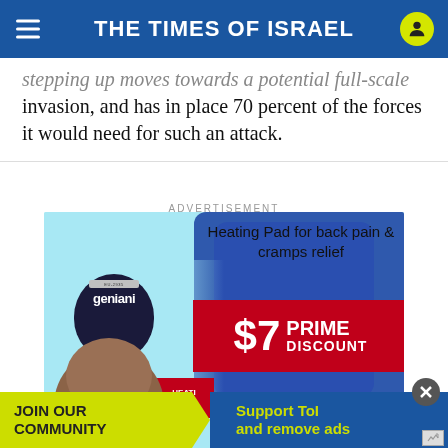THE TIMES OF ISRAEL
stepping up moves towards a potential full-scale invasion, and has in place 70 percent of the forces it would need for such an attack.
ADVERTISEMENT
[Figure (photo): Advertisement for geniani heating pad showing a woman holding a blue heating pad, with text 'Heating Pad for back pain & cramps relief' and '$7 PRIME DISCOUNT' on a red banner]
JOIN OUR COMMUNITY
Support ToI and remove ads